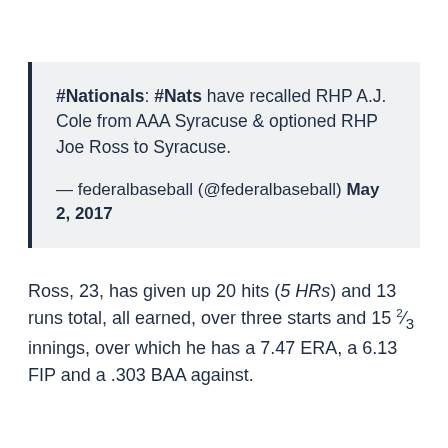#Nationals: #Nats have recalled RHP A.J. Cole from AAA Syracuse & optioned RHP Joe Ross to Syracuse.

— federalbaseball (@federalbaseball) May 2, 2017
Ross, 23, has given up 20 hits (5 HRs) and 13 runs total, all earned, over three starts and 15 2/3 innings, over which he has a 7.47 ERA, a 6.13 FIP and a .303 BAA against.